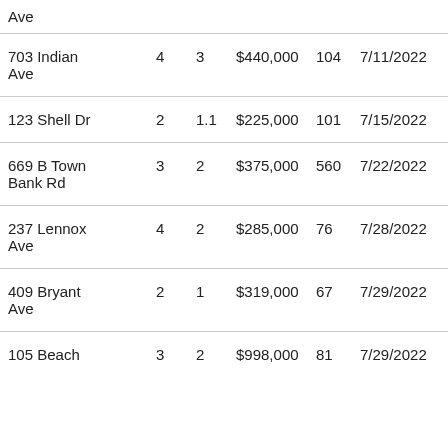| Ave |  |  |  |  |  |
| 703 Indian Ave | 4 | 3 | $440,000 | 104 | 7/11/2022 |
| 123 Shell Dr | 2 | 1.1 | $225,000 | 101 | 7/15/2022 |
| 669 B Town Bank Rd | 3 | 2 | $375,000 | 560 | 7/22/2022 |
| 237 Lennox Ave | 4 | 2 | $285,000 | 76 | 7/28/2022 |
| 409 Bryant Ave | 2 | 1 | $319,000 | 67 | 7/29/2022 |
| 105 Beach | 3 | 2 | $998,000 | 81 | 7/29/2022 |